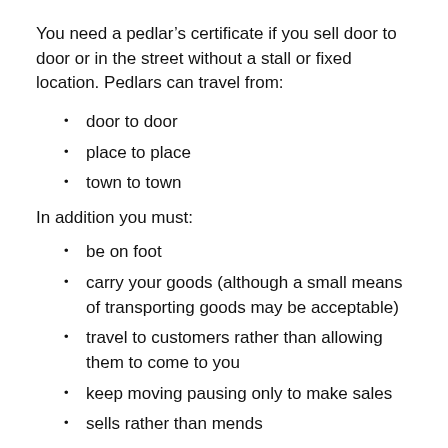You need a pedlar’s certificate if you sell door to door or in the street without a stall or fixed location. Pedlars can travel from:
door to door
place to place
town to town
In addition you must:
be on foot
carry your goods (although a small means of transporting goods may be acceptable)
travel to customers rather than allowing them to come to you
keep moving pausing only to make sales
sells rather than mends
not set up a stall